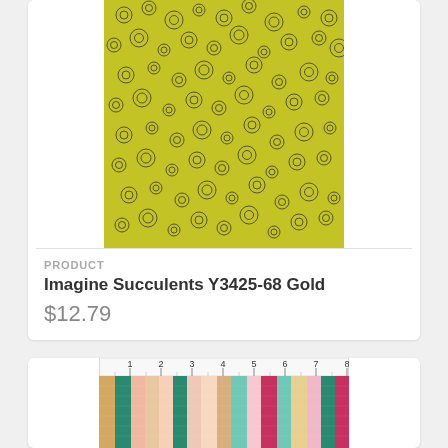[Figure (photo): Yellow-green fabric with black floral/succulent pattern, shown cropped from above, filling the top portion of a white product card]
PRODUCT
Imagine Succulents Y3425-68 Gold
$12.79
[Figure (photo): Colorful striped ribbon/thread swatch card with a ruler across the top showing measurements 1 through 8, containing vertical stripes in teal, pink, yellow, mint, burgundy and other colors]